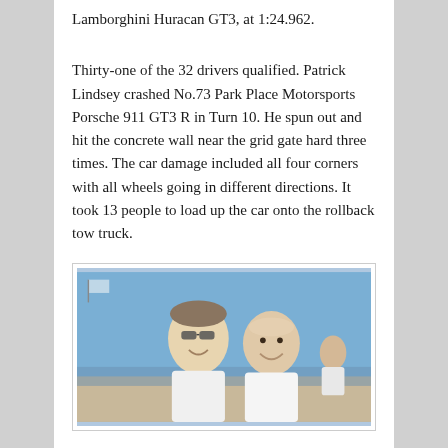Lamborghini Huracan GT3, at 1:24.962.
Thirty-one of the 32 drivers qualified. Patrick Lindsey crashed No.73 Park Place Motorsports Porsche 911 GT3 R in Turn 10. He spun out and hit the concrete wall near the grid gate hard three times. The car damage included all four corners with all wheels going in different directions. It took 13 people to load up the car onto the rollback tow truck.
[Figure (photo): Two men smiling and laughing together outdoors at a motorsport event, one wearing sunglasses, with a blue sky and crowd/grandstand visible in the background.]